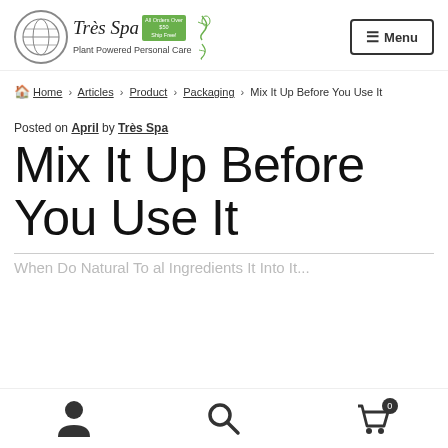Très Spa Plant Powered Personal Care | Menu
Home › Articles › Product › Packaging › Mix It Up Before You Use It
Posted on April by Très Spa
Mix It Up Before You Use It
User icon | Search icon | Cart (0)